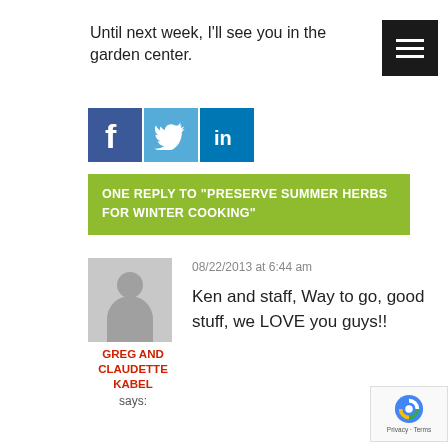Until next week, I'll see you in the garden center.
[Figure (logo): Social media sharing icons: Facebook (blue), Twitter (light blue), LinkedIn (blue)]
ONE REPLY TO "PRESERVE SUMMER HERBS FOR WINTER COOKING"
[Figure (photo): Generic gray avatar/profile placeholder image]
GREG AND CLAUDETTE KABEL
says:
08/22/2013 at 6:44 am
Ken and staff, Way to go, good stuff, we LOVE you guys!!